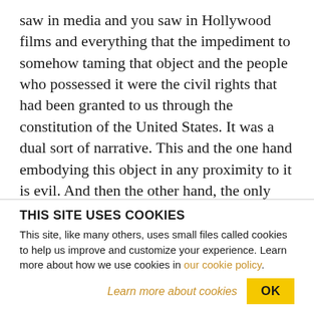saw in media and you saw in Hollywood films and everything that the impediment to somehow taming that object and the people who possessed it were the civil rights that had been granted to us through the constitution of the United States. It was a dual sort of narrative. This and the one hand embodying this object in any proximity to it is evil. And then the other hand, the only way to extinguish it is to violate the principles that this country was founded on. So it, it was really a way to make policing sort of the prime narrator of why some people weren't
THIS SITE USES COOKIES
This site, like many others, uses small files called cookies to help us improve and customize your experience. Learn more about how we use cookies in our cookie policy.
Learn more about cookies   OK